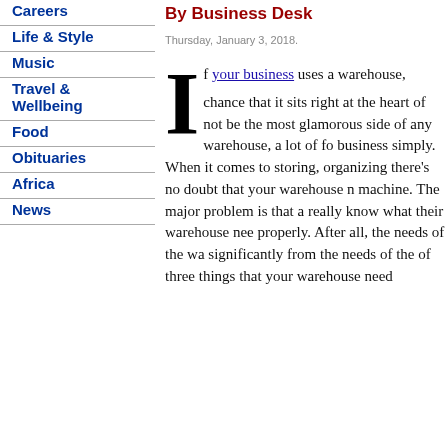Careers
Life & Style
Music
Travel & Wellbeing
Food
Obituaries
Africa
News
By Business Desk
Thursday, January 3, 2018.
If your business uses a warehouse, chance that it sits right at the heart of not be the most glamorous side of any warehouse, a lot of fo business simply. When it comes to storing, organizing there's no doubt that your warehouse n machine. The major problem is that a really know what their warehouse nee properly. After all, the needs of the wa significantly from the needs of the of three things that your warehouse need